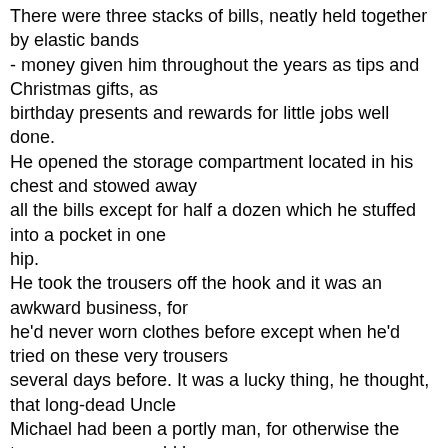There were three stacks of bills, neatly held together by elastic bands - money given him throughout the years as tips and Christmas gifts, as birthday presents and rewards for little jobs well done. He opened the storage compartment located in his chest and stowed away all the bills except for half a dozen which he stuffed into a pocket in one hip. He took the trousers off the hook and it was an awkward business, for he'd never worn clothes before except when he'd tried on these very trousers several days before. It was a lucky thing, he thought, that long-dead Uncle Michael had been a portly man, for otherwise the trousers never would have fit. He got them on and zippered and belted into place, then forced his feet into the overshoes. He was a little worried about the overshoes. No human went out in the summer wearing overshoes. But it was the best that he could do. None of the regular shoes he'd found in the house had